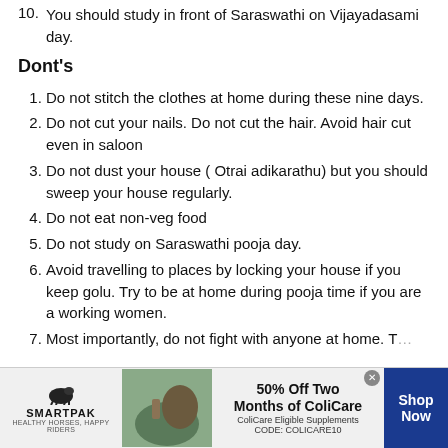10. You should study in front of Saraswathi on Vijayadasami day.
Dont's
1. Do not stitch the clothes at home during these nine days.
2. Do not cut your nails. Do not cut the hair. Avoid hair cut even in saloon
3. Do not dust your house ( Otrai adikarathu) but you should sweep your house regularly.
4. Do not eat non-veg food
5. Do not study on Saraswathi pooja day.
6. Avoid travelling to places by locking your house if you keep golu. Try to be at home during pooja time if you are a working women.
7. Most importantly, do not fight with anyone at home. T…
[Figure (infographic): Advertisement banner for SmartPak featuring a horse and rider image, '50% Off Two Months of ColiCare', ColiCare Eligible Supplements, CODE: COLICARE10, with Shop Now button]